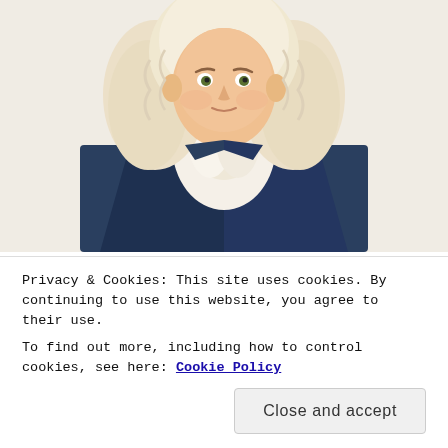[Figure (illustration): Illustrated portrait of a historical figure (likely a Founding Father) in colonial attire — navy blue coat and white cravat/ruffled collar, with white powdered wig, shown from the chest up against a plain background.]
Almost Nobody Has Passed This Classic Logo Quiz
WarpedSpeed
SHARE THIS:
Twitter  Facebook  LinkedIn
Privacy & Cookies: This site uses cookies. By continuing to use this website, you agree to their use.
To find out more, including how to control cookies, see here: Cookie Policy
Close and accept
happy		helpful steps.